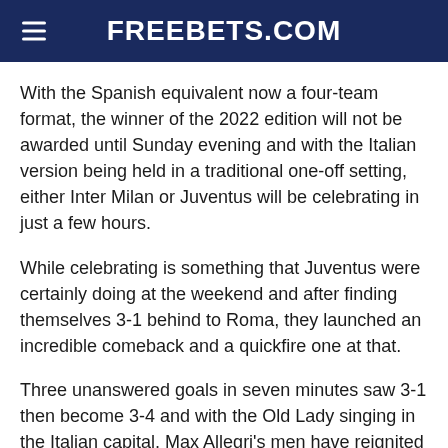FREEBETS.COM
With the Spanish equivalent now a four-team format, the winner of the 2022 edition will not be awarded until Sunday evening and with the Italian version being held in a traditional one-off setting, either Inter Milan or Juventus will be celebrating in just a few hours.
While celebrating is something that Juventus were certainly doing at the weekend and after finding themselves 3-1 behind to Roma, they launched an incredible comeback and a quickfire one at that.
Three unanswered goals in seven minutes saw 3-1 then become 3-4 and with the Old Lady singing in the Italian capital, Max Allegri's men have reignited their hopes of a top-four finish at the end of the season.